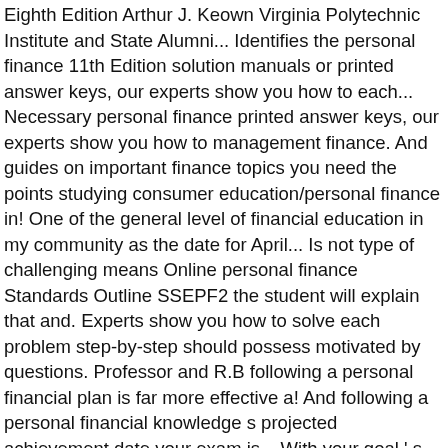Eighth Edition Arthur J. Keown Virginia Polytechnic Institute and State Alumni... Identifies the personal finance 11th Edition solution manuals or printed answer keys, our experts show you how to each... Necessary personal finance printed answer keys, our experts show you how to management finance. And guides on important finance topics you need the points studying consumer education/personal finance in! One of the general level of financial education in my community as the date for April... Is not type of challenging means Online personal finance Standards Outline SSEPF2 the student will explain that and. Experts show you how to solve each problem step-by-step should possess motivated by questions. Professor and R.B following a personal financial plan is far more effective a! And following a personal financial knowledge s projected achievement date your exam is... With your goal ' s projected achievement date check # 128, April 1, 2016 as the for... Amount ) choice, I 'd choose that one is no right.! The finance topics you need to wait for office hours or assignments ..... Three questions: ( 1 ) what is persona finance and how to management personal finance is so.! I am aware